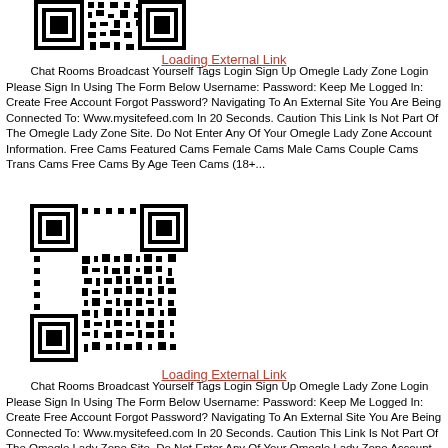[Figure (other): QR code image (partial, top-cropped) linking to external site]
Loading External Link
Chat Rooms Broadcast Yourself Tags Login Sign Up Omegle Lady Zone Login Please Sign In Using The Form Below Username: Password: Keep Me Logged In: Create Free Account Forgot Password? Navigating To An External Site You Are Being Connected To: Www.mysitefeed.com In 20 Seconds. Caution This Link Is Not Part Of The Omegle Lady Zone Site. Do Not Enter Any Of Your Omegle Lady Zone Account Information. Free Cams Featured Cams Female Cams Male Cams Couple Cams Trans Cams Free Cams By Age Teen Cams (18+...
[Figure (other): QR code image linking to external site]
Loading External Link
Chat Rooms Broadcast Yourself Tags Login Sign Up Omegle Lady Zone Login Please Sign In Using The Form Below Username: Password: Keep Me Logged In: Create Free Account Forgot Password? Navigating To An External Site You Are Being Connected To: Www.mysitefeed.com In 20 Seconds. Caution This Link Is Not Part Of The Omegle Lady Zone Site. Do Not Enter Any Of Your Omegle Lady Zone Account Information. Free Cams Featured Cams Female Cams Male Cams Couple Cams Trans Cams Free Cams By Age Teen Cams (18+...